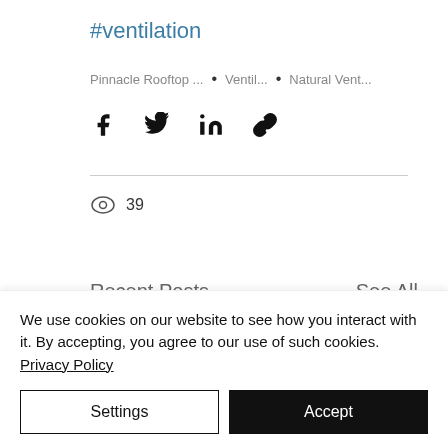#ventilation
Pinnacle Rooftop ... • Ventil... • Natural Vent...
[Figure (other): Social share icons: Facebook, Twitter, LinkedIn, Link]
39 views
Recent Posts
See All
[Figure (photo): Recent post thumbnail images: two placeholder boxes and one ocean/sea photo]
We use cookies on our website to see how you interact with it. By accepting, you agree to our use of such cookies. Privacy Policy
Settings
Accept